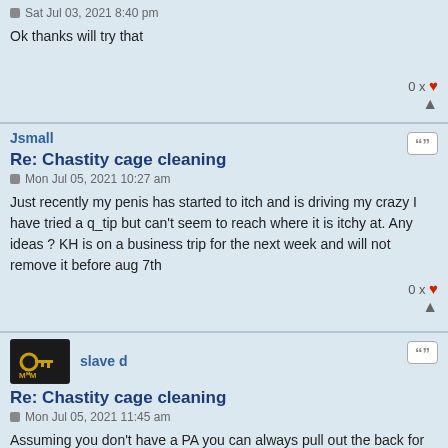Sat Jul 03, 2021 8:40 pm
Ok thanks will try that
0 x ♥
Jsmall
Re: Chastity cage cleaning
Mon Jul 05, 2021 10:27 am
Just recently my penis has started to itch and is driving my crazy I have tried a q_tip but can't seem to reach where it is itchy at. Any ideas ? KH is on a business trip for the next week and will not remove it before aug 7th
0 x ♥
slave d
Re: Chastity cage cleaning
Mon Jul 05, 2021 11:45 am
Assuming you don't have a PA you can always pull out the back for long